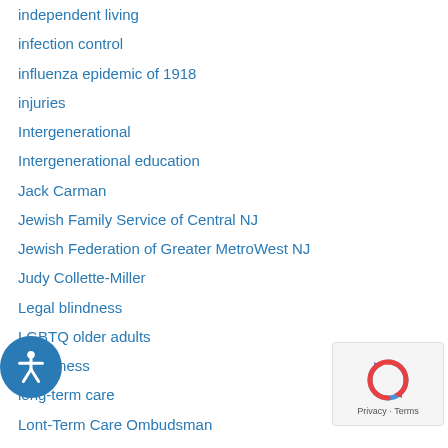independent living
infection control
influenza epidemic of 1918
injuries
Intergenerational
Intergenerational education
Jack Carman
Jewish Family Service of Central NJ
Jewish Federation of Greater MetroWest NJ
Judy Collette-Miller
Legal blindness
LGBTQ older adults
Loneliness
long-term care
Lont-Term Care Ombudsman
Loise Rush
macular degeneration
Mark Tabakman
Medicaid